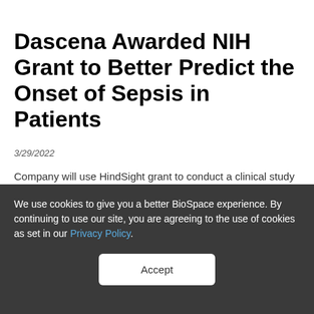Dascena Awarded NIH Grant to Better Predict the Onset of Sepsis in Patients
3/29/2022
Company will use HindSight grant to conduct a clinical study that seeks to reduce alert fatigue Dascena has received a grant from the National Institute of Health to conduct a clinical study that evaluates the efficacy of its HindSight algorithm to accurately and efficiently predict the onset of sepsis in patients.
Thermo Fisher Scientific to Support
We use cookies to give you a better BioSpace experience. By continuing to use our site, you are agreeing to the use of cookies as set in our Privacy Policy.
Accept